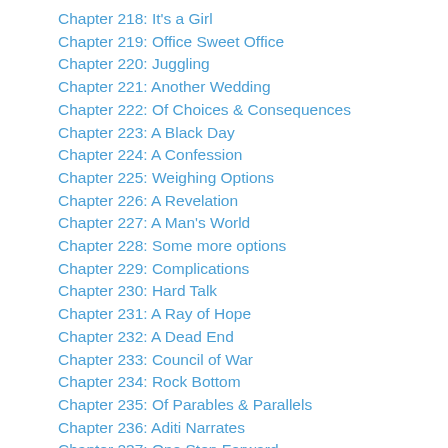Chapter 218: It's a Girl
Chapter 219: Office Sweet Office
Chapter 220: Juggling
Chapter 221: Another Wedding
Chapter 222: Of Choices & Consequences
Chapter 223: A Black Day
Chapter 224: A Confession
Chapter 225: Weighing Options
Chapter 226: A Revelation
Chapter 227: A Man's World
Chapter 228: Some more options
Chapter 229: Complications
Chapter 230: Hard Talk
Chapter 231: A Ray of Hope
Chapter 232: A Dead End
Chapter 233: Council of War
Chapter 234: Rock Bottom
Chapter 235: Of Parables & Parallels
Chapter 236: Aditi Narrates
Chapter 237: One Step Forward